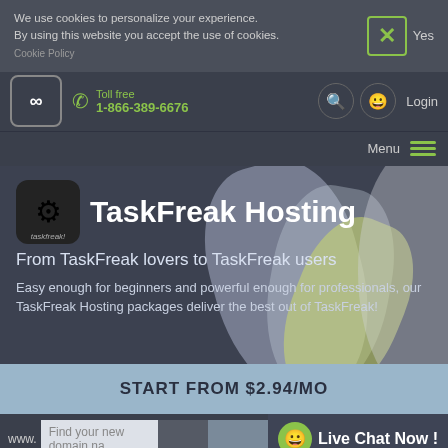We use cookies to personalize your experience. By using this website you accept the use of cookies.
Yes
[Figure (screenshot): Navigation bar with logo, toll free number 1-866-389-6676, search icon, account icon, and Login link]
Toll free
1-866-389-6676
Login
Menu
TaskFreak Hosting
From TaskFreak lovers to TaskFreak users
Easy enough for beginners and powerful enough for professionals, our TaskFreak Hosting packages deliver the best out of TaskFreak!
START FROM $2.94/MO
www.  Find your new domain na...
Live Chat Now !